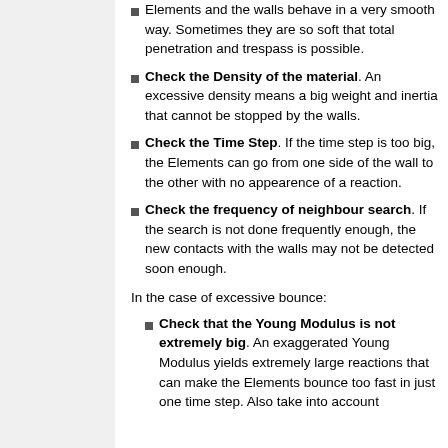Elements and the walls behave in a very smooth way. Sometimes they are so soft that total penetration and trespass is possible.
Check the Density of the material. An excessive density means a big weight and inertia that cannot be stopped by the walls.
Check the Time Step. If the time step is too big, the Elements can go from one side of the wall to the other with no appearence of a reaction.
Check the frequency of neighbour search. If the search is not done frequently enough, the new contacts with the walls may not be detected soon enough.
In the case of excessive bounce:
Check that the Young Modulus is not extremely big. An exaggerated Young Modulus yields extremely large reactions that can make the Elements bounce too fast in just one time step. Also take into account the stability of wall interactions.